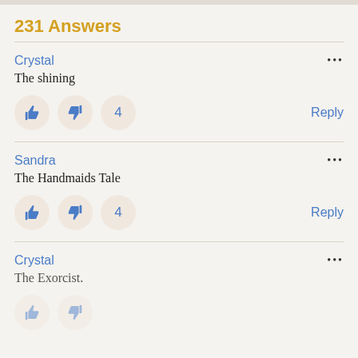231 Answers
Crystal
The shining
Sandra
The Handmaids Tale
Crystal
The Exorcist.